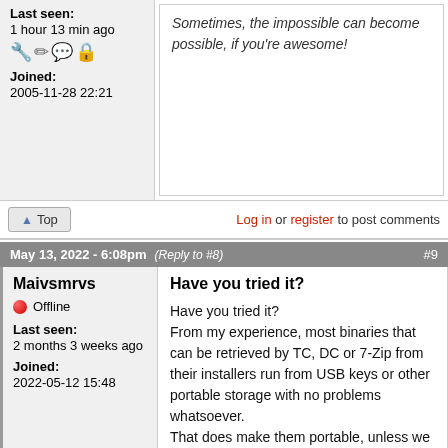Last seen: 1 hour 13 min ago
Joined: 2005-11-28 22:21
Sometimes, the impossible can become possible, if you're awesome!
Log in or register to post comments
May 13, 2022 - 6:08pm (Reply to #8) #9
Maivsmrvs
Offline
Last seen: 2 months 3 weeks ago
Joined: 2022-05-12 15:48
Have you tried it?
Have you tried it? From my experience, most binaries that can be retrieved by TC, DC or 7-Zip from their installers run from USB keys or other portable storage with no problems whatsoever. That does make them portable, unless we complicate the definition of "portable" by adding "has a dedicated portable installer" to